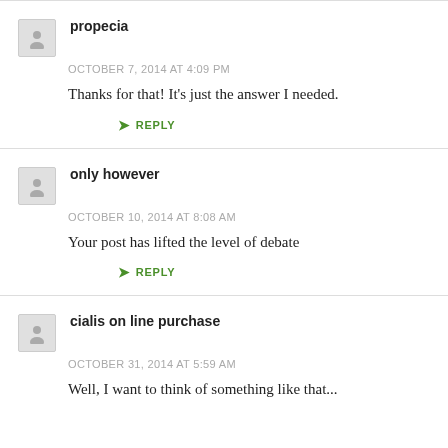propecia — OCTOBER 7, 2014 AT 4:09 PM — Thanks for that! It's just the answer I needed. — REPLY
only however — OCTOBER 10, 2014 AT 8:08 AM — Your post has lifted the level of debate — REPLY
cialis on line purchase — OCTOBER 31, 2014 AT 5:59 AM — Well, I want to think of something like that...